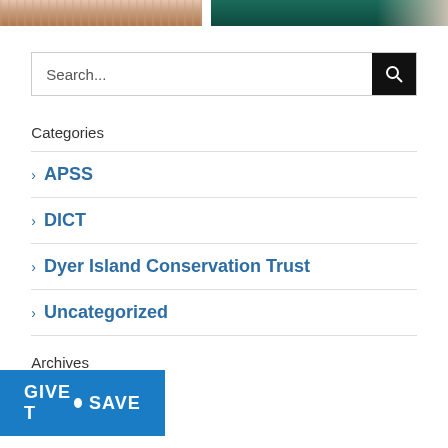[Figure (photo): Two cropped photos at top: left shows a person with warm pinkish/brown tones, right shows teal water with rocky/sandy shore.]
Search...
Categories
> APSS
> DICT
> Dyer Island Conservation Trust
> Uncategorized
Archives
[Figure (logo): Give To Save blue button banner at bottom of page]